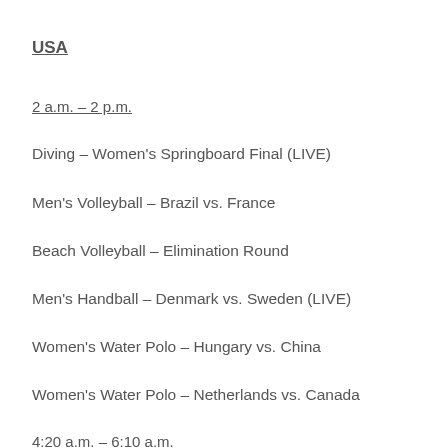USA
2 a.m. – 2 p.m.
Diving – Women's Springboard Final (LIVE)
Men's Volleyball – Brazil vs. France
Beach Volleyball – Elimination Round
Men's Handball – Denmark vs. Sweden (LIVE)
Women's Water Polo – Hungary vs. China
Women's Water Polo – Netherlands vs. Canada
4:20 a.m. – 6:10 a.m.